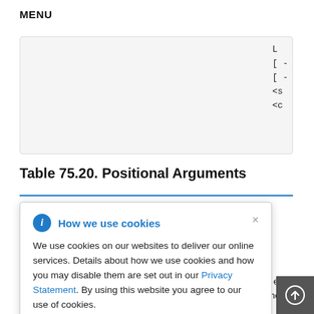MENU
[Figure (screenshot): Truncated code block showing partial XML/code content with lines starting with '[', '<s', '<c' characters on a light gray background]
Table 75.20. Positional Arguments
[Figure (infographic): Cookie consent popup with blue info icon, title 'How we use cookies', body text about cookie usage, a Privacy Statement link, and a close X button]
config
ed to apply a sort order to the list of